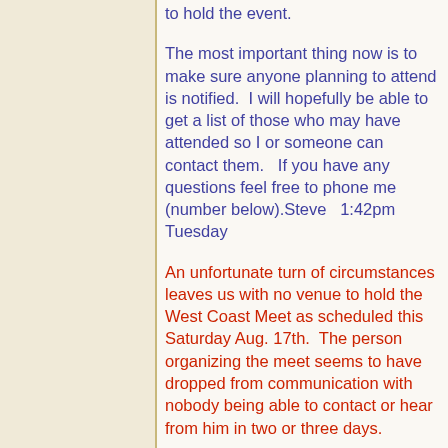to hold the event.
The most important thing now is to make sure anyone planning to attend is notified.  I will hopefully be able to get a list of those who may have attended so I or someone can contact them.   If you have any questions feel free to phone me (number below).Steve   1:42pm Tuesday
An unfortunate turn of circumstances leaves us with no venue to hold the West Coast Meet as scheduled this Saturday Aug. 17th.  The person organizing the meet seems to have dropped from communication with nobody being able to contact or hear from him in two or three days.
There is still a possibility that the meet may be held but it may have to be officiallly cancelled on very